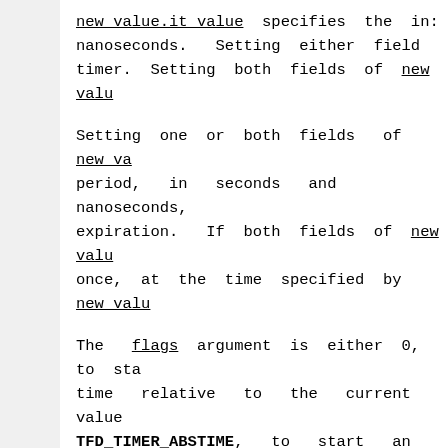new value.it value specifies the in: nanoseconds. Setting either field timer. Setting both fields of new valu
Setting one or both fields of new va period, in seconds and nanoseconds, expiration. If both fields of new valu once, at the time specified by new valu
The flags argument is either 0, to sta time relative to the current value TFD_TIMER_ABSTIME, to start an absol time for the clock specified by clockid that clock reaches the value specified
If the old value argument is not NULL, used to return the setting of the timer description of timerfd_gettime() follow